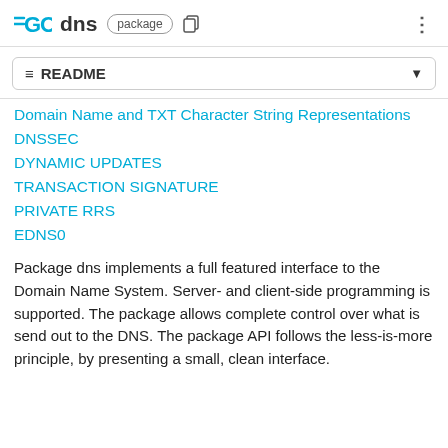GO dns package
≡ README
Domain Name and TXT Character String Representations
DNSSEC
DYNAMIC UPDATES
TRANSACTION SIGNATURE
PRIVATE RRS
EDNS0
Package dns implements a full featured interface to the Domain Name System. Server- and client-side programming is supported. The package allows complete control over what is send out to the DNS. The package API follows the less-is-more principle, by presenting a small, clean interface.